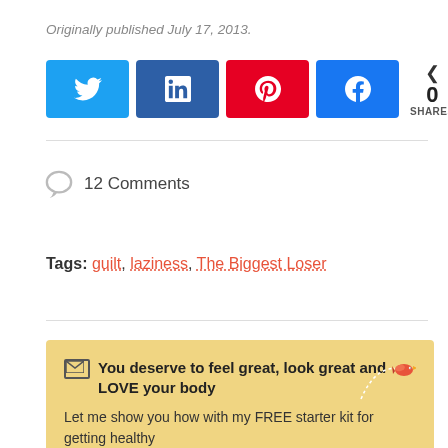Originally published July 17, 2013.
[Figure (other): Social share buttons: Twitter (light blue), LinkedIn (dark blue), Pinterest (red), Facebook (blue), and a share count showing 0 SHARES]
12 Comments
Tags: guilt, laziness, The Biggest Loser
You deserve to feel great, look great and LOVE your body
Let me show you how with my FREE starter kit for getting healthy
and losing weight without dieting.